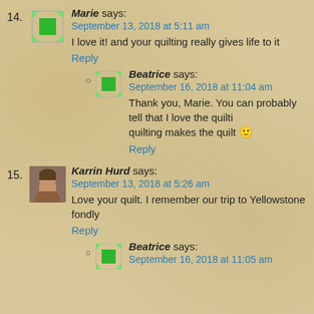14. Marie says: September 13, 2018 at 5:11 am — I love it! and your quilting really gives life to it — Reply
Beatrice says: September 16, 2018 at 11:04 am — Thank you, Marie. You can probably tell that I love the quilting makes the quilt 🙂 — Reply
15. Karrin Hurd says: September 13, 2018 at 5:26 am — Love your quilt. I remember our trip to Yellowstone fondly — Reply
Beatrice says: September 16, 2018 at 11:05 am